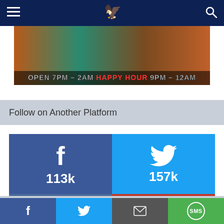≡  [logo]  🔍
[Figure (photo): Colorful curtain/drape background with text overlay: OPEN 7PM - 2AM HAPPY HOUR 9PM - 12AM]
Follow on Another Platform
[Figure (infographic): Social media follower counts: Facebook 113k, Twitter 157k, Instagram 54.9k, YouTube 4,570]
Latest Instagram Posts
Share buttons: Facebook, Twitter, Email, SMS